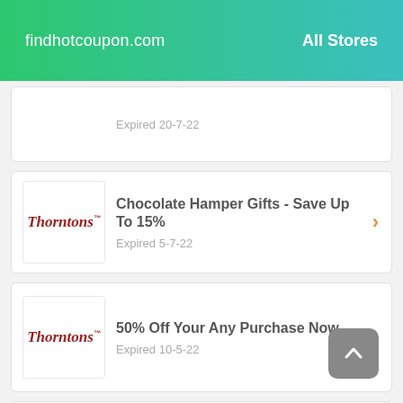findhotcoupon.com   All Stores
Expired 20-7-22
Chocolate Hamper Gifts - Save Up To 15%
Expired 5-7-22
50% Off Your Any Purchase Now
Expired 10-5-22
Arriving Up To 80% Off